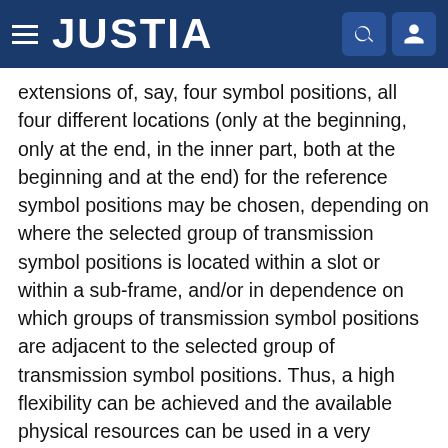JUSTIA
extensions of, say, four symbol positions, all four different locations (only at the beginning, only at the end, in the inner part, both at the beginning and at the end) for the reference symbol positions may be chosen, depending on where the selected group of transmission symbol positions is located within a slot or within a sub-frame, and/or in dependence on which groups of transmission symbol positions are adjacent to the selected group of transmission symbol positions. Thus, a high flexibility can be achieved and the available physical resources can be used in a very efficient manner by configuring the apparatus to be able to use two, three or four different (relative) positions within a selected group of transmission symbol positions for the reference symbol positions.
In an advantageous embodiment, the data